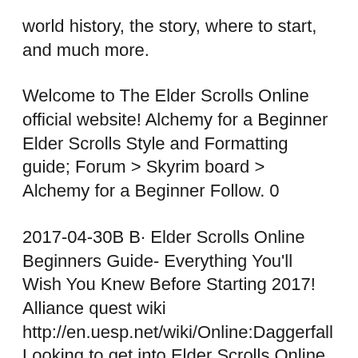world history, the story, where to start, and much more.
Welcome to The Elder Scrolls Online official website! Alchemy for a Beginner Elder Scrolls Style and Formatting guide; Forum > Skyrim board > Alchemy for a Beginner Follow. 0
2017-04-30B B· Elder Scrolls Online Beginners Guide- Everything You'll Wish You Knew Before Starting 2017! Alliance quest wiki http://en.uesp.net/wiki/Online:Daggerfall Looking to get into Elder Scrolls Online but feeling a bit lost? This guide will help get you pointed in the right direction!